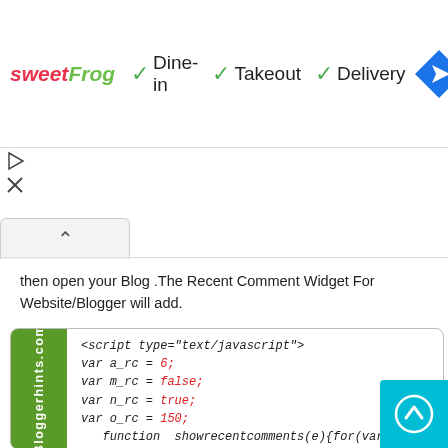[Figure (screenshot): SweetFrog ad banner with Dine-in, Takeout, Delivery checkmarks and navigation icon]
then open your Blog .The Recent Comment Widget For Website/Blogger will add.
[Figure (screenshot): Code block showing JavaScript snippet with var a_rc=6, var m_rc=false, var n_rc=true, var o_rc=150, and function showrecentcomments with Bloggerhints.com sidebar label]